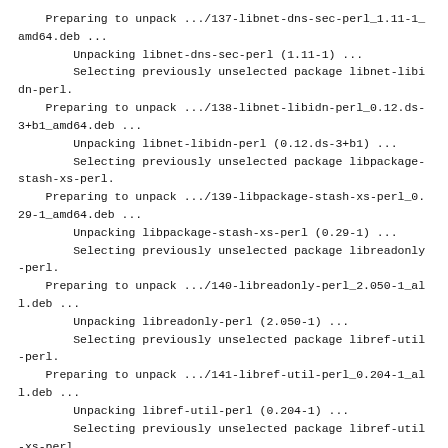Preparing to unpack .../137-libnet-dns-sec-perl_1.11-1_amd64.deb ...
        Unpacking libnet-dns-sec-perl (1.11-1) ...
        Selecting previously unselected package libnet-libidn-perl.
    Preparing to unpack .../138-libnet-libidn-perl_0.12.ds-3+b1_amd64.deb ...
        Unpacking libnet-libidn-perl (0.12.ds-3+b1) ...
        Selecting previously unselected package libpackage-stash-xs-perl.
    Preparing to unpack .../139-libpackage-stash-xs-perl_0.29-1_amd64.deb ...
        Unpacking libpackage-stash-xs-perl (0.29-1) ...
        Selecting previously unselected package libreadonly-perl.
    Preparing to unpack .../140-libreadonly-perl_2.050-1_all.deb ...
        Unpacking libreadonly-perl (2.050-1) ...
        Selecting previously unselected package libref-util-perl.
    Preparing to unpack .../141-libref-util-perl_0.204-1_all.deb ...
        Unpacking libref-util-perl (0.204-1) ...
        Selecting previously unselected package libref-util-xs-perl.
    Preparing to unpack .../142-libref-util-xs-perl_0.117-1+b1_amd64.deb ...
        Unpacking libref-util-xs-perl (0.117-1+b1) ...
        Selecting previously unselected package libyaml-libyaml-perl.